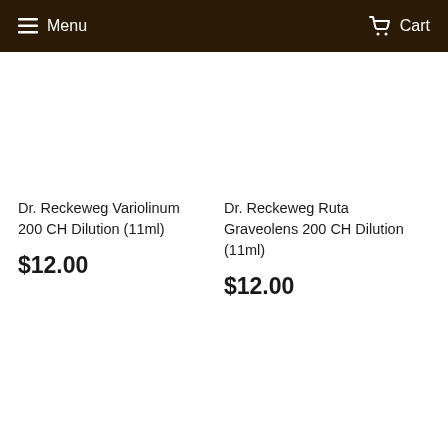Menu  Cart
Dr. Reckeweg Variolinum 200 CH Dilution (11ml)
$12.00
Dr. Reckeweg Ruta Graveolens 200 CH Dilution (11ml)
$12.00